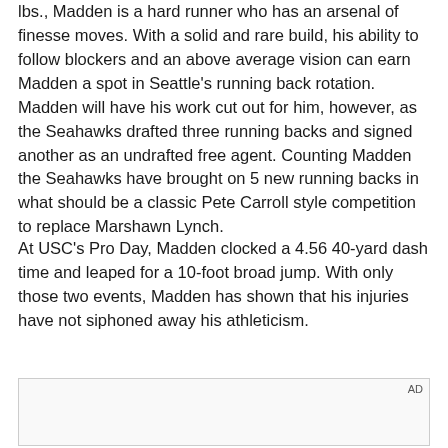lbs., Madden is a hard runner who has an arsenal of finesse moves. With a solid and rare build, his ability to follow blockers and an above average vision can earn Madden a spot in Seattle's running back rotation. Madden will have his work cut out for him, however, as the Seahawks drafted three running backs and signed another as an undrafted free agent. Counting Madden the Seahawks have brought on 5 new running backs in what should be a classic Pete Carroll style competition to replace Marshawn Lynch.
At USC's Pro Day, Madden clocked a 4.56 40-yard dash time and leaped for a 10-foot broad jump. With only those two events, Madden has shown that his injuries have not siphoned away his athleticism.
[Figure (other): Advertisement placeholder box with AD label in upper right corner]